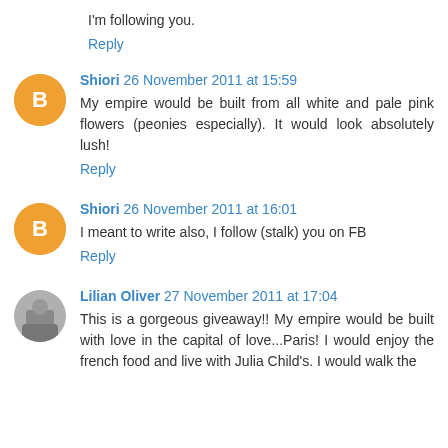I'm following you.
Reply
Shiori  26 November 2011 at 15:59
My empire would be built from all white and pale pink flowers (peonies especially). It would look absolutely lush!
Reply
Shiori  26 November 2011 at 16:01
I meant to write also, I follow (stalk) you on FB
Reply
Lilian Oliver  27 November 2011 at 17:04
This is a gorgeous giveaway!! My empire would be built with love in the capital of love...Paris! I would enjoy the french food and live with Julia Child's. I would walk the